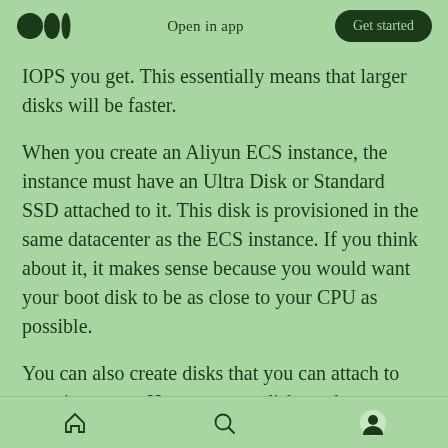Open in app  Get started
IOPS you get. This essentially means that larger disks will be faster.
When you create an Aliyun ECS instance, the instance must have an Ultra Disk or Standard SSD attached to it. This disk is provisioned in the same datacenter as the ECS instance. If you think about it, it makes sense because you would want your boot disk to be as close to your CPU as possible.
You can also create disks that you can attach to your instances. However, one disk can be